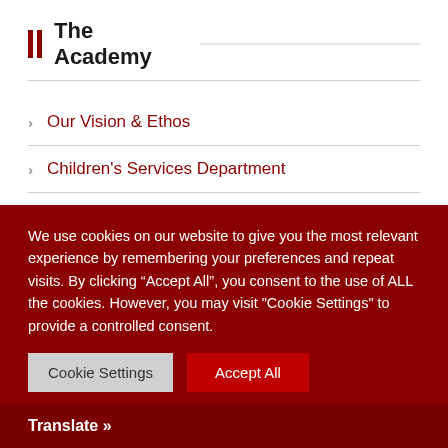The Academy
Our Vision & Ethos
Children's Services Department
Covid-19 Related Documentation
Governance
Our Staff
We use cookies on our website to give you the most relevant experience by remembering your preferences and repeat visits. By clicking “Accept All”, you consent to the use of ALL the cookies. However, you may visit "Cookie Settings" to provide a controlled consent.
Cookie Settings | Accept All
Translate »